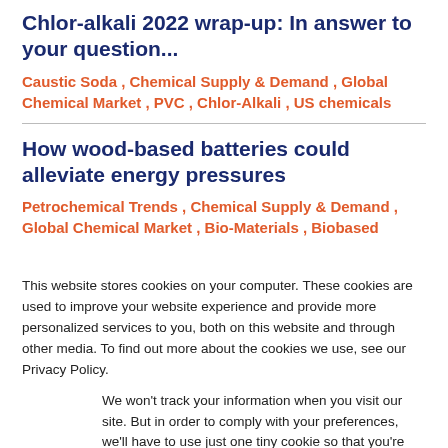Chlor-alkali 2022 wrap-up: In answer to your question...
Caustic Soda , Chemical Supply & Demand , Global Chemical Market , PVC , Chlor-Alkali , US chemicals
How wood-based batteries could alleviate energy pressures
Petrochemical Trends , Chemical Supply & Demand , Global Chemical Market , Bio-Materials , Biobased
This website stores cookies on your computer. These cookies are used to improve your website experience and provide more personalized services to you, both on this website and through other media. To find out more about the cookies we use, see our Privacy Policy.
We won't track your information when you visit our site. But in order to comply with your preferences, we'll have to use just one tiny cookie so that you're not asked to make this choice again.
Accept
Decline